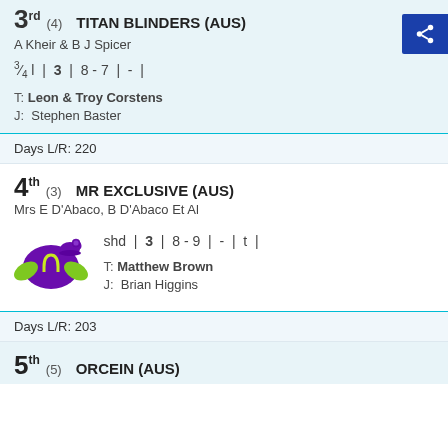3rd (4) TITAN BLINDERS (AUS) — A Kheir & B J Spicer — ¾ l | 3 | 8 - 7 | - | — T: Leon & Troy Corstens — J: Stephen Baster
Days L/R: 220
4th (3) MR EXCLUSIVE (AUS) — Mrs E D'Abaco, B D'Abaco Et Al — shd | 3 | 8 - 9 | - | t | — T: Matthew Brown — J: Brian Higgins
Days L/R: 203
5th (5) ORCEIN (AUS)